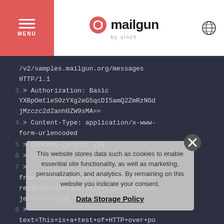MENU | mailgun by sinch
[Figure (screenshot): Mailgun API code block showing HTTP request with Authorization header, Content-Type, and form-encoded body parameters]
This website stores data such as cookies to enable essential site functionality, as well as marketing, personalization, and analytics. By remaining on this website you indicate your consent.
Data Storage Policy